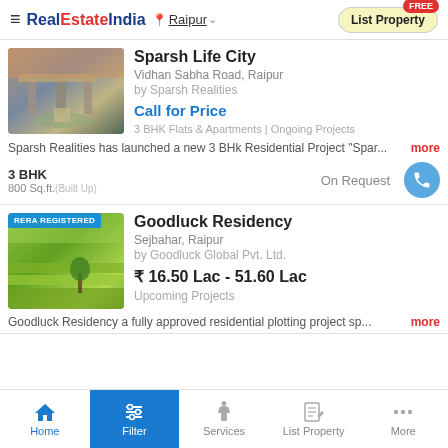RealEstateIndia — Raipur — List Property FREE
Sparsh Life City
Vidhan Sabha Road, Raipur
by Sparsh Realities
Call for Price
3 BHK Flats & Apartments | Ongoing Projects
Sparsh Realities has launched a new 3 BHk Residential Project "Spar...
3 BHK
800 Sq.ft.(Built Up)
On Request
Goodluck Residency
Sejbahar, Raipur
by Goodluck Global Pvt. Ltd.
₹ 16.50 Lac - 51.60 Lac
Upcoming Projects
Goodluck Residency a fully approved residential plotting project sp...
Home | Filter | Services | List Property | More